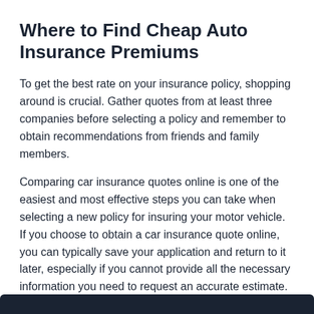Where to Find Cheap Auto Insurance Premiums
To get the best rate on your insurance policy, shopping around is crucial. Gather quotes from at least three companies before selecting a policy and remember to obtain recommendations from friends and family members.
Comparing car insurance quotes online is one of the easiest and most effective steps you can take when selecting a new policy for insuring your motor vehicle. If you choose to obtain a car insurance quote online, you can typically save your application and return to it later, especially if you cannot provide all the necessary information you need to request an accurate estimate.
Sponsored Links